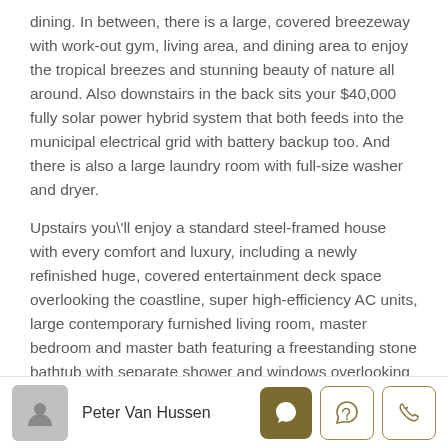dining. In between, there is a large, covered breezeway with work-out gym, living area, and dining area to enjoy the tropical breezes and stunning beauty of nature all around. Also downstairs in the back sits your $40,000 fully solar power hybrid system that both feeds into the municipal electrical grid with battery backup too. And there is also a large laundry room with full-size washer and dryer.
Upstairs you\'ll enjoy a standard steel-framed house with every comfort and luxury, including a newly refinished huge, covered entertainment deck space overlooking the coastline, super high-efficiency AC units, large contemporary furnished living room, master bedroom and master bath featuring a freestanding stone bathtub with separate shower and windows overlooking the verdant tropical scenery and lush gardens. There is also plenty of
Peter Van Hussen